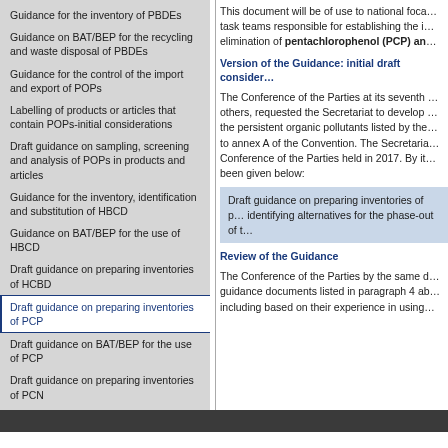Guidance for the inventory of PBDEs
Guidance on BAT/BEP for the recycling and waste disposal of PBDEs
Guidance for the control of the import and export of POPs
Labelling of products or articles that contain POPs-initial considerations
Draft guidance on sampling, screening and analysis of POPs in products and articles
Guidance for the inventory, identification and substitution of HBCD
Guidance on BAT/BEP for the use of HBCD
Draft guidance on preparing inventories of HCBD
Draft guidance on preparing inventories of PCP
Draft guidance on BAT/BEP for the use of PCP
Draft guidance on preparing inventories of PCN
This document will be of use to national focal points and task teams responsible for establishing the inventory and elimination of pentachlorophenol (PCP) an…
Version of the Guidance: initial draft consider…
The Conference of the Parties at its seventh meeting, among others, requested the Secretariat to develop guidance on the persistent organic pollutants listed by the Convention to annex A of the Convention. The Secretariat reported to Conference of the Parties held in 2017. By it… been given below:
Draft guidance on preparing inventories of p… identifying alternatives for the phase-out of t…
Review of the Guidance
The Conference of the Parties by the same d… guidance documents listed in paragraph 4 ab… including based on their experience in using…